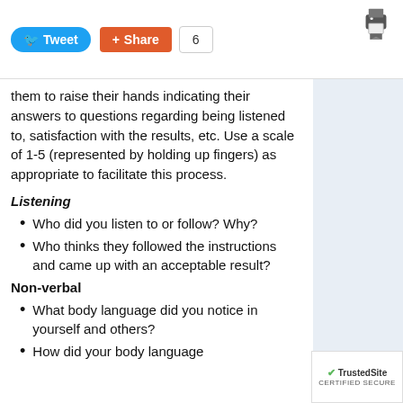[Figure (screenshot): Social media share buttons: Tweet button (blue), Share button (orange/red), share count badge showing 6, print icon and bookmark icon on the right]
them to raise their hands indicating their answers to questions regarding being listened to, satisfaction with the results, etc. Use a scale of 1-5 (represented by holding up fingers) as appropriate to facilitate this process.
Listening
Who did you listen to or follow? Why?
Who thinks they followed the instructions and came up with an acceptable result?
Non-verbal
What body language did you notice in yourself and others?
How did your body language